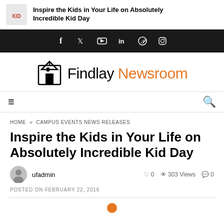Inspire the Kids in Your Life on Absolutely Incredible Kid Day
[Figure (other): Social media navigation bar with icons for Facebook, Twitter, YouTube, LinkedIn, Pinterest, and Instagram on black background]
[Figure (logo): Findlay Newsroom logo with church/building icon and text 'Findlay Newsroom' in black and orange]
[Figure (other): Navigation bar with hamburger menu icon on left and search icon on right]
HOME » CAMPUS EVENTS NEWS RELEASES
Inspire the Kids in Your Life on Absolutely Incredible Kid Day
ufadmin   ♥ 0   👁 303 Views   💬 0
POSTED ON FEBRUARY 22, 2016